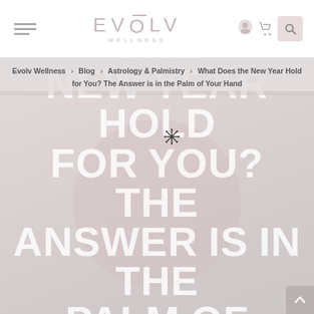[Figure (logo): EVOLV WELLNESS logo with decorative bar over the O]
Evolv Wellness > Blog > Astrology & Palmistry > What Does the New Year Hold for You? The Answer is in the Palm of Your Hand
WHAT DOES THE NEW YEAR HOLD FOR YOU? THE ANSWER IS IN THE PALM OF YOUR HAND
[Figure (illustration): Decorative snowflake/star icon overlaid on hero text]
[Figure (illustration): Back-to-top arrow button at bottom right corner]